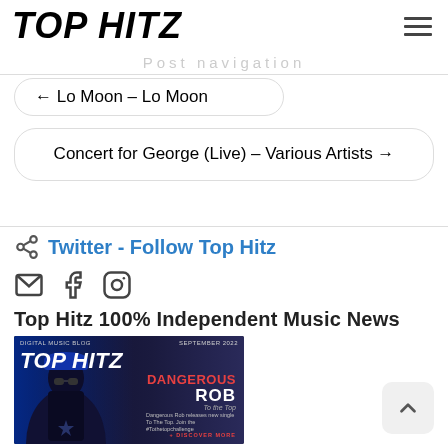TOP HITZ
Post navigation
← Lo Moon – Lo Moon
Concert for George (Live) – Various Artists →
Twitter - Follow Top Hitz
[Figure (logo): Share icon, email icon, Facebook icon, Instagram icon - social media icons]
Top Hitz 100% Independent Music News
[Figure (photo): Top Hitz digital music blog magazine cover for September 2022 featuring Dangerous Rob - To the Top, with a man wearing sunglasses and a cap against a dark blue background]